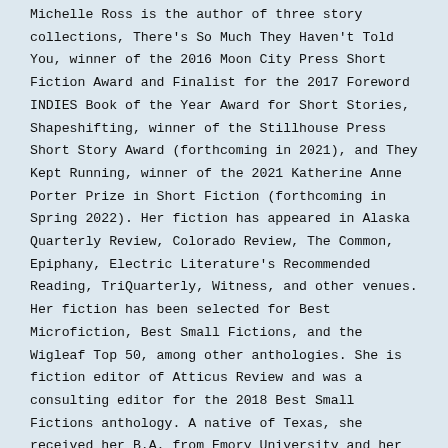Michelle Ross is the author of three story collections, There's So Much They Haven't Told You, winner of the 2016 Moon City Press Short Fiction Award and Finalist for the 2017 Foreword INDIES Book of the Year Award for Short Stories, Shapeshifting, winner of the Stillhouse Press Short Story Award (forthcoming in 2021), and They Kept Running, winner of the 2021 Katherine Anne Porter Prize in Short Fiction (forthcoming in Spring 2022). Her fiction has appeared in Alaska Quarterly Review, Colorado Review, The Common, Epiphany, Electric Literature's Recommended Reading, TriQuarterly, Witness, and other venues. Her fiction has been selected for Best Microfiction, Best Small Fictions, and the Wigleaf Top 50, among other anthologies. She is fiction editor of Atticus Review and was a consulting editor for the 2018 Best Small Fictions anthology. A native of Texas, she received her B.A. from Emory University and her M.F.A and M.A. from Indiana University. She currently lives in Tucson, Arizona, with her husband and son.